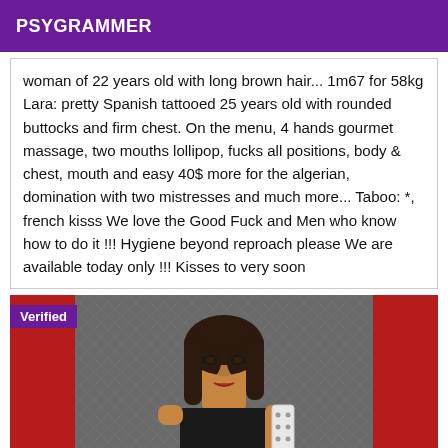PSYGRAMMER
woman of 22 years old with long brown hair... 1m67 for 58kg Lara: pretty Spanish tattooed 25 years old with rounded buttocks and firm chest. On the menu, 4 hands gourmet massage, two mouths lollipop, fucks all positions, body & chest, mouth and easy 40$ more for the algerian, domination with two mistresses and much more... Taboo: *, french kisss We love the Good Fuck and Men who know how to do it !!! Hygiene beyond reproach please We are available today only !!! Kisses to very soon
[Figure (photo): A woman with dark hair holding a paddle-like object, with a red and grey background. A purple 'Verified' badge is in the top-left corner of the image.]